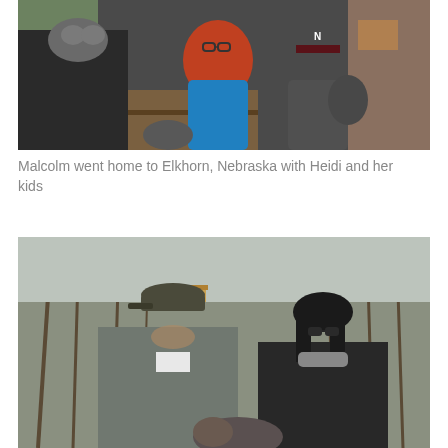[Figure (photo): Indoor photo of two children — a red-haired girl wearing glasses and a blue shirt, and a boy in a maroon beanie and gray bear t-shirt — posed with an adult holding a chinchilla or small animal, taken inside a room with shelving and decorative items.]
Malcolm went home to Elkhorn, Nebraska with Heidi and her kids
[Figure (photo): Outdoor photo of a man in a gray jacket and baseball cap and a woman with dark hair wearing a black jacket, standing together in a wooded area with bare trees in the background, apparently holding a small animal.]